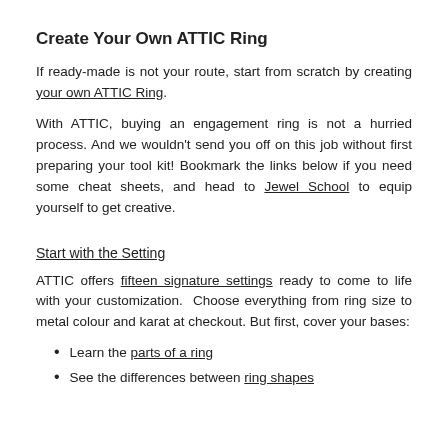Create Your Own ATTIC Ring
If ready-made is not your route, start from scratch by creating your own ATTIC Ring.
With ATTIC, buying an engagement ring is not a hurried process. And we wouldn't send you off on this job without first preparing your tool kit! Bookmark the links below if you need some cheat sheets, and head to Jewel School to equip yourself to get creative.
Start with the Setting
ATTIC offers fifteen signature settings ready to come to life with your customization. Choose everything from ring size to metal colour and karat at checkout. But first, cover your bases:
Learn the parts of a ring
See the differences between ring shapes